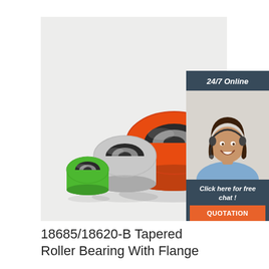[Figure (photo): Three plastic flanged roller bearings of different sizes and colors (green, gray, red/orange) with metal ball bearing inserts, arranged in a row on a white background.]
[Figure (photo): Customer service widget showing a woman with a headset smiling, with '24/7 Online' header, 'Click here for free chat!' text, and an orange 'QUOTATION' button, on a dark blue-gray background.]
18685/18620-B Tapered Roller Bearing With Flange